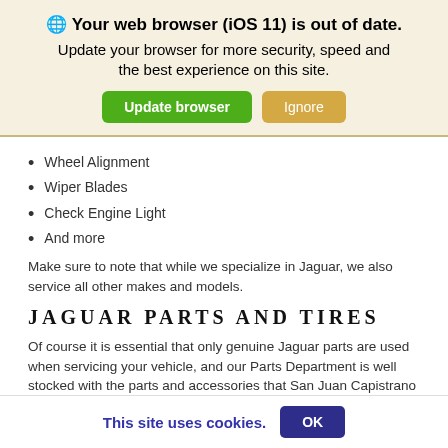🌐 Your web browser (iOS 11) is out of date. Update your browser for more security, speed and the best experience on this site.
Update browser | Ignore
Wheel Alignment
Wiper Blades
Check Engine Light
And more
Make sure to note that while we specialize in Jaguar, we also service all other makes and models.
JAGUAR PARTS AND TIRES
Of course it is essential that only genuine Jaguar parts are used when servicing your vehicle, and our Parts Department is well stocked with the parts and accessories that San Juan Capistrano drivers are looking for. If the part you need isn't currently in stock, we will be happy to order it for you. For your convenience you can also order parts online. If you are
This site uses cookies.